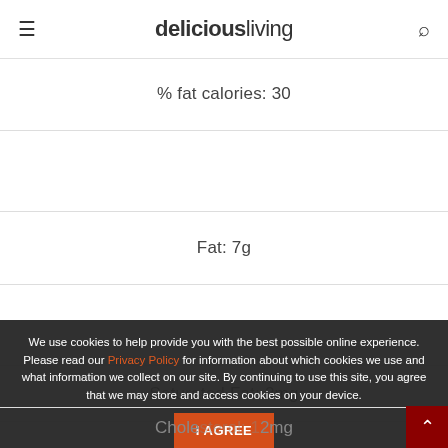deliciousliving
% fat calories: 30
Fat: 7g
Saturated Fat: 2mg
We use cookies to help provide you with the best possible online experience. Please read our Privacy Policy for information about which cookies we use and what information we collect on our site. By continuing to use this site, you agree that we may store and access cookies on your device.
I AGREE
Cholesterol: 12mg